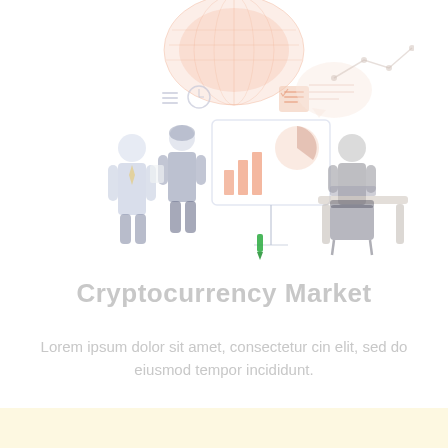[Figure (illustration): Business meeting illustration: three figures (two standing, one sitting at a desk) in front of a presentation board showing bar charts and data. Various analytics icons and a circular globe graphic float above. Color palette is very light blue/grey and peach/salmon, almost washed out. A small green marker/pen detail appears near center-bottom of the illustration.]
Cryptocurrency Market
Lorem ipsum dolor sit amet, consectetur cin elit, sed do eiusmod tempor incididunt.